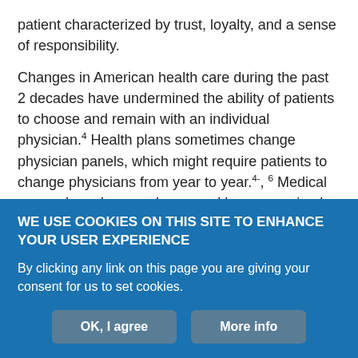patient characterized by trust, loyalty, and a sense of responsibility.
Changes in American health care during the past 2 decades have undermined the ability of patients to choose and remain with an individual physician.4 Health plans sometimes change physician panels, which might require patients to change physicians from year to year.4-, 6 Medical groups have become larger and have organized into networks, so that call arrangements and clinic schedules make personal relationships between individual physicians and patients more difficult than ever to establish and maintain.7,8 As these changes have occurred, there has been disagreement but little
WE USE COOKIES ON THIS SITE TO ENHANCE YOUR USER EXPERIENCE
By clicking any link on this page you are giving your consent for us to set cookies.